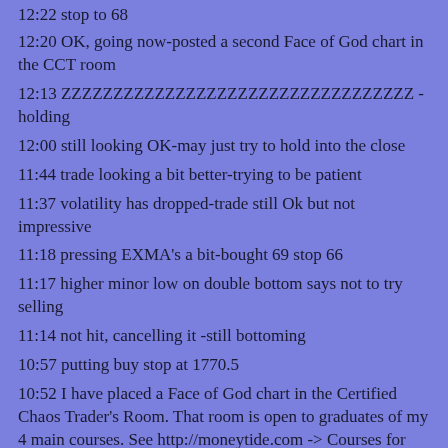12:22 stop to 68
12:20 OK, going now-posted a second Face of God chart in the CCT room
12:13 ZZZZZZZZZZZZZZZZZZZZZZZZZZZZZZZZZZ -holding
12:00 still looking OK-may just try to hold into the close
11:44 trade looking a bit better-trying to be patient
11:37 volatility has dropped-trade still Ok but not impressive
11:18 pressing EXMA's a bit-bought 69 stop 66
11:17 higher minor low on double bottom says not to try selling
11:14 not hit, cancelling it -still bottoming
10:57 putting buy stop at 1770.5
10:52 I have placed a Face of God chart in the Certified Chaos Trader's Room. That room is open to graduates of my 4 main courses. See http://moneytide.com -> Courses for details.
eMylar Fractal of Pi overlays help you be patient, since they show